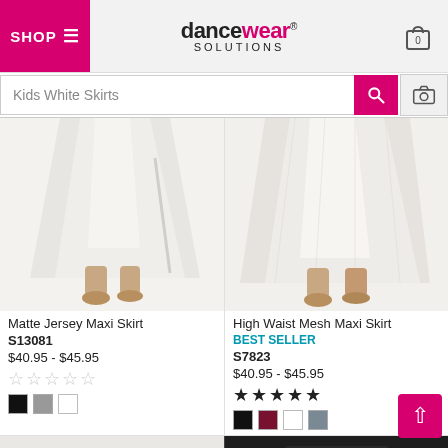Dancewear Solutions - SHOP
Kids White Skirts
[Figure (photo): Photo of white Matte Jersey Maxi Skirt showing lower portion of garment and dancer's bare feet]
Matte Jersey Maxi Skirt
S13081
$40.95 - $45.95
☆☆☆☆☆ (empty stars rating)
[Figure (photo): Photo of white High Waist Mesh Maxi Skirt showing lower portion of garment and dancer's bare feet]
High Waist Mesh Maxi Skirt
BEST SELLER
S7823
$40.95 - $45.95
★★★★★ (4.5 star rating)